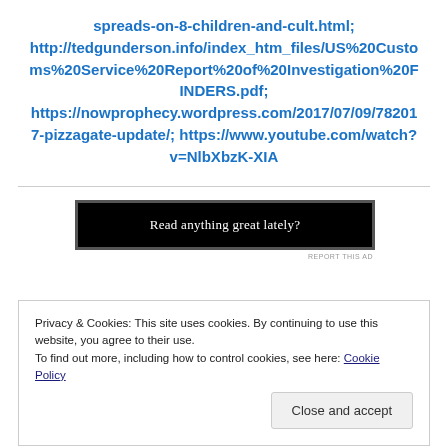spreads-on-8-children-and-cult.html; http://tedgunderson.info/index_htm_files/US%20Customs%20Service%20Report%20of%20Investigation%20FINDERS.pdf; https://nowprophecy.wordpress.com/2017/07/09/782017-pizzagate-update/; https://www.youtube.com/watch?v=NlbXbzK-XIA
[Figure (other): Black banner advertisement reading 'Read anything great lately?' with a report-this-ad label below]
Privacy & Cookies: This site uses cookies. By continuing to use this website, you agree to their use.
To find out more, including how to control cookies, see here: Cookie Policy
[Close and accept button]